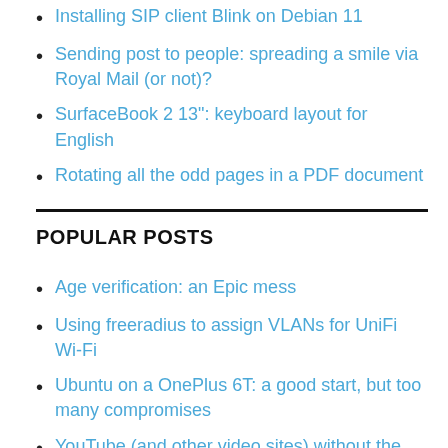Installing SIP client Blink on Debian 11
Sending post to people: spreading a smile via Royal Mail (or not)?
SurfaceBook 2 13": keyboard layout for English
Rotating all the odd pages in a PDF document
POPULAR POSTS
Age verification: an Epic mess
Using freeradius to assign VLANs for UniFi Wi-Fi
Ubuntu on a OnePlus 6T: a good start, but too many compromises
YouTube (and other video sites) without the irritations: integrating yt-dlp and jellyfin, with a web interface